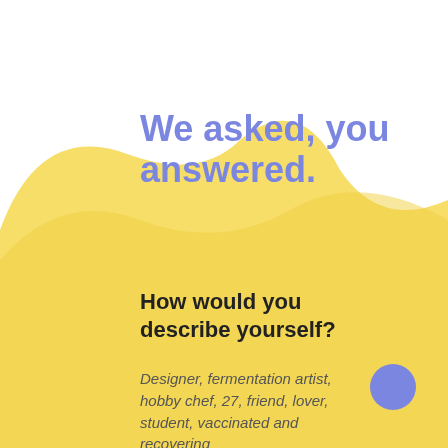[Figure (illustration): Yellow wavy/hilly background shape covering the left side and bottom portion of the page, with a white gap in the middle-right area creating a wave silhouette effect.]
We asked, you answered.
How would you describe yourself?
Designer, fermentation artist, hobby chef, 27, friend, lover, student, vaccinated and recovering